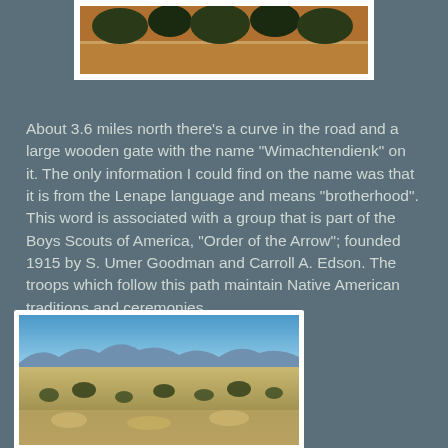[Figure (photo): Partial view of arid landscape with orange-brown soil and dark scrub vegetation, cropped at top of page]
About 3.6 miles north there's a curve in the road and a large wooden gate with the name "Wimachtendienk" on it.  The only information I could find on the name was that it is from the Lenape language and means "brotherhood".  This word is associated with a group that is part of the Boys Scouts of America, "Order of the Arrow"; founded 1915 by S. Umer Goodman and Carroll A. Edson.  The troops which follow this path maintain Native American traditions and ceremonies.
[Figure (photo): Wide landscape photograph showing blue sky, distant mountains, and sparse scrubby desert terrain with rocks and low vegetation]